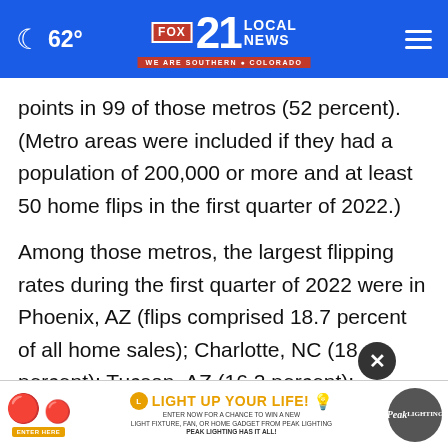62° FOX 21 LOCAL NEWS WE ARE SOUTHERN COLORADO
points in 99 of those metros (52 percent). (Metro areas were included if they had a population of 200,000 or more and at least 50 home flips in the first quarter of 2022.)
Among those metros, the largest flipping rates during the first quarter of 2022 were in Phoenix, AZ (flips comprised 18.7 percent of all home sales); Charlotte, NC (18 percent); Tucson, AZ (16.2 percent); Atlanta, GA (16.1 percent); and Jacks...
[Figure (other): Advertisement banner for Peak Lighting: 'LIGHT UP YOUR LIFE! ENTER NOW FOR A CHANCE TO WIN A NEW LIGHT FIXTURE, FAN, OR HOME GADGET FROM PEAK LIGHTING. PEAK LIGHTING HAS IT ALL!']